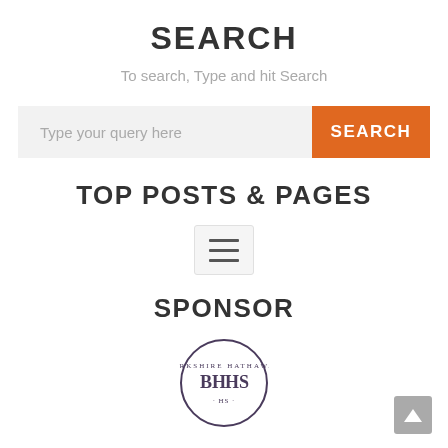SEARCH
To search, Type and hit Search
[Figure (other): Search bar with text input placeholder 'Type your query here' and an orange SEARCH button]
TOP POSTS & PAGES
[Figure (other): Hamburger menu icon (three horizontal lines) inside a light gray rounded rectangle]
SPONSOR
[Figure (logo): Berkshire Hathaway (BHHS) circular logo, partially visible at bottom of page]